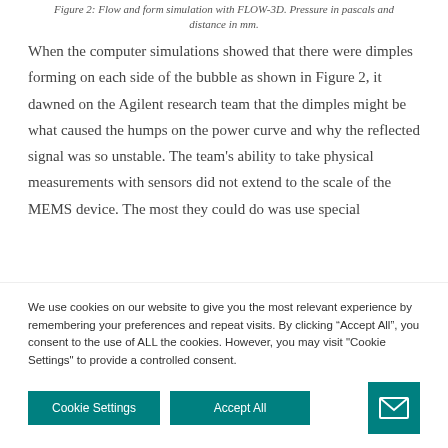Figure 2: Flow and form simulation with FLOW-3D. Pressure in pascals and distance in mm.
When the computer simulations showed that there were dimples forming on each side of the bubble as shown in Figure 2, it dawned on the Agilent research team that the dimples might be what caused the humps on the power curve and why the reflected signal was so unstable. The team's ability to take physical measurements with sensors did not extend to the scale of the MEMS device. The most they could do was use special
We use cookies on our website to give you the most relevant experience by remembering your preferences and repeat visits. By clicking "Accept All", you consent to the use of ALL the cookies. However, you may visit "Cookie Settings" to provide a controlled consent.